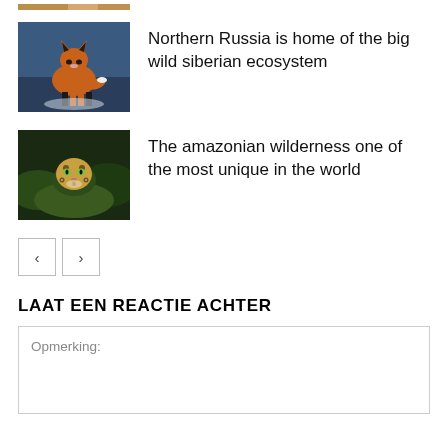[Figure (photo): Partial strip of a brown/tan colored animal at top of page]
[Figure (photo): A red fox standing on a snowy surface against a blue background]
Northern Russia is home of the big wild siberian ecosystem
[Figure (photo): A leopard peering through green foliage]
The amazonian wilderness one of the most unique in the world
< >
LAAT EEN REACTIE ACHTER
Opmerking: